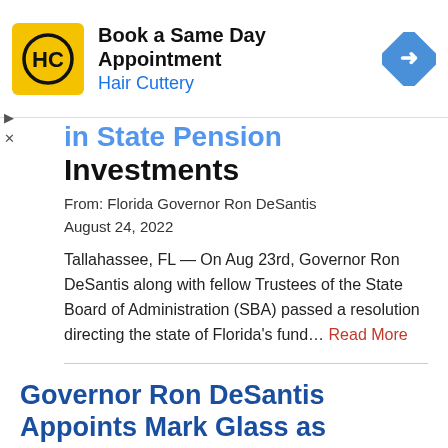[Figure (other): Hair Cuttery advertisement banner: logo (HC in yellow square), 'Book a Same Day Appointment', 'Hair Cuttery', blue navigation arrow icon]
investments
From: Florida Governor Ron DeSantis
August 24, 2022
Tallahassee, FL — On Aug 23rd, Governor Ron DeSantis along with fellow Trustees of the State Board of Administration (SBA) passed a resolution directing the state of Florida's fund... Read More
Governor Ron DeSantis Appoints Mark Glass as Commissioner of the Florida Department of Law